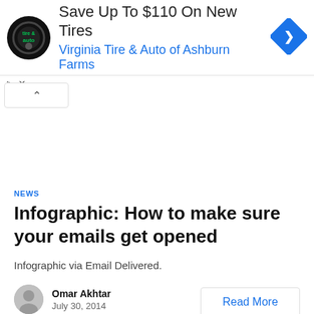[Figure (infographic): Advertisement banner for Virginia Tire & Auto of Ashburn Farms with circular logo, play/close controls, and diamond-shaped navigation icon]
Save Up To $110 On New Tires
Virginia Tire & Auto of Ashburn Farms
NEWS
Infographic: How to make sure your emails get opened
Infographic via Email Delivered.
Omar Akhtar
July 30, 2014
Read More